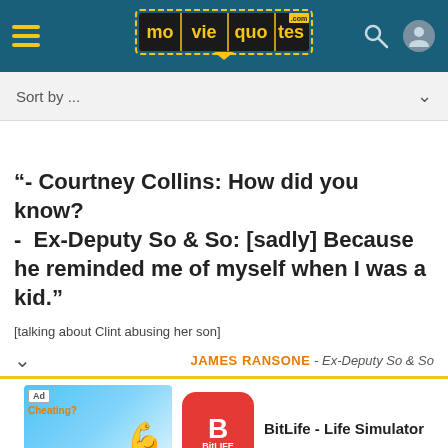moviequotes.com
Sort by ...
“- Courtney Collins: How did you know?
- Ex-Deputy So & So: [sadly] Because he reminded me of myself when I was a kid.”
[talking about Clint abusing her son]
JAMES RANSONE - Ex-Deputy So & So
[Figure (other): Advertisement banner for BitLife - Life Simulator app with install button]